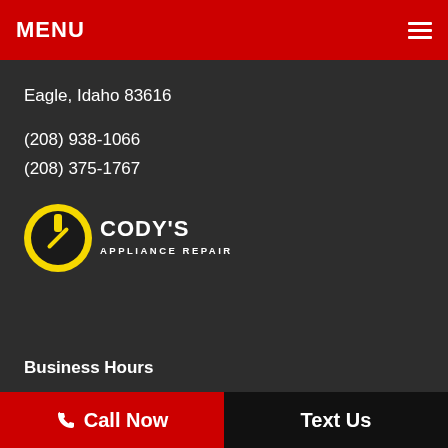MENU
Eagle, Idaho 83616
(208) 938-1066
(208) 375-1767
[Figure (logo): Cody's Appliance Repair logo — yellow circular badge with a screwdriver icon and white text CODY'S APPLIANCE REPAIR]
Business Hours
Mon – Fri 7:30 am – 5:00 pm
Sat 9:00 am – 1:00 pm
Call Now   Text Us